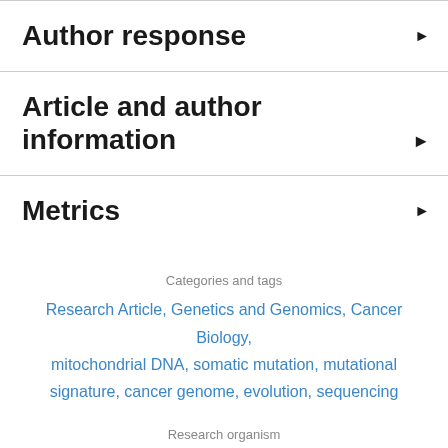Author response ▶
Article and author information ▶
Metrics ▶
Categories and tags
Research Article, Genetics and Genomics, Cancer Biology, mitochondrial DNA, somatic mutation, mutational signature, cancer genome, evolution, sequencing
Research organism
Human